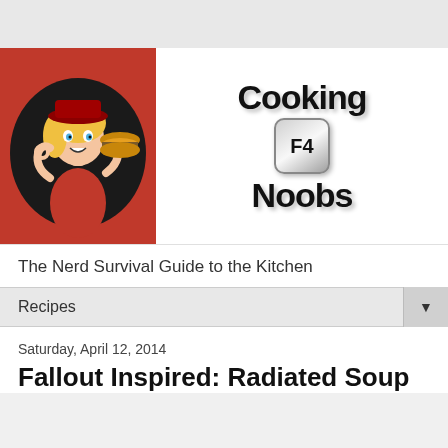[Figure (logo): Cooking F4 Noobs blog logo: cartoon woman in red holding a burger on a red/dark circular background, with 'Cooking F4 Noobs' text to the right]
The Nerd Survival Guide to the Kitchen
Recipes
Saturday, April 12, 2014
Fallout Inspired: Radiated Soup